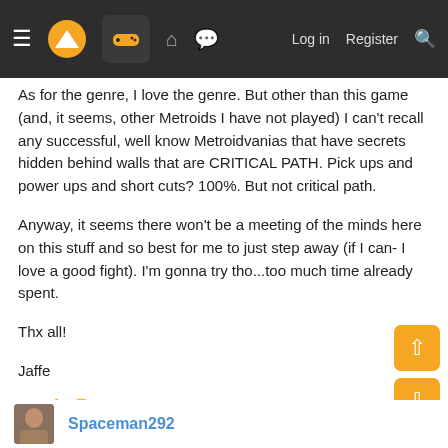Navigation bar with menu, logo, game icon, forum icon, chat icon, Log in, Register, Search
As for the genre, I love the genre. But other than this game (and, it seems, other Metroids I have not played) I can't recall any successful, well know Metroidvanias that have secrets hidden behind walls that are CRITICAL PATH. Pick ups and power ups and short cuts? 100%. But not critical path.
Anyway, it seems there won't be a meeting of the minds here on this stuff and so best for me to just step away (if I can- I love a good fight). I'm gonna try tho...too much time already spent.
Thx all!
Jaffe
🧠 👍 😂 Bodomism, Shaqazooloo, rofif and 1 other person
Spaceman292